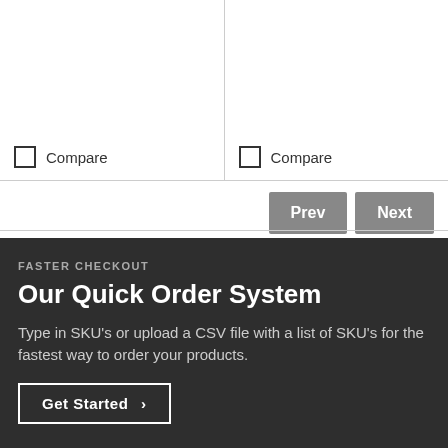Compare
Compare
Prev
Next
FASTER CHECKOUT
Our Quick Order System
Type in SKU's or upload a CSV file with a list of SKU's for the fastest way to order your products.
Get Started →